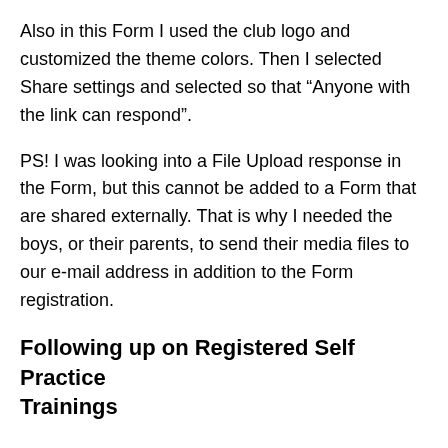Also in this Form I used the club logo and customized the theme colors. Then I selected Share settings and selected so that “Anyone with the link can respond”.
PS! I was looking into a File Upload response in the Form, but this cannot be added to a Form that are shared externally. That is why I needed the boys, or their parents, to send their media files to our e-mail address in addition to the Form registration.
Following up on Registered Self Practice Trainings
With all those great responses coming in, I could look through the responses in Office Forms, and download an Excel copy of the responses, but I needed something